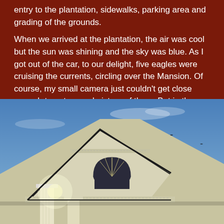entry to the plantation, sidewalks, parking area and grading of the grounds.
When we arrived at the plantation, the air was cool but the sun was shining and the sky was blue. As I got out of the car, to our delight, five eagles were cruising the currents, circling over the Mansion. Of course, my small camera just couldn't get close enough to get a good picture of them. But in the picture I did get, you can see them just over the house. It was amazing to see them.
[Figure (photo): Upward-angle photograph of a white plantation mansion with classical columns, pediment with arched window, and decorative cornice detailing, shot against a blue sky with faint silhouettes of eagles visible in the distance.]